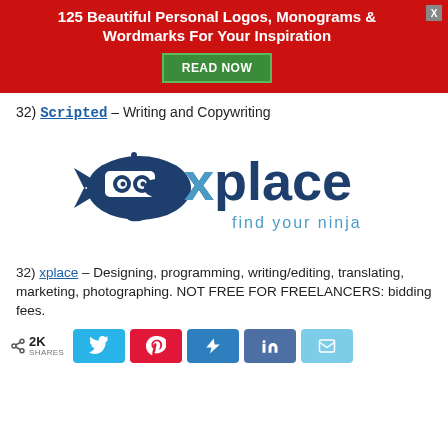125 Beautiful Personal Logos, Monograms & Wordmarks For Your Inspiration
32) Scripted – Writing and Copywriting
[Figure (logo): xplace logo: cartoon fish-robot character with the word 'xplace' in dark blue and 'find your ninja' in lighter blue below]
32) xplace – Designing, programming, writing/editing, translating, marketing, photographing. NOT FREE FOR FREELANCERS: bidding fees.
2K SHARES [Twitter] [Pinterest] [Kik] [LinkedIn] [Email]